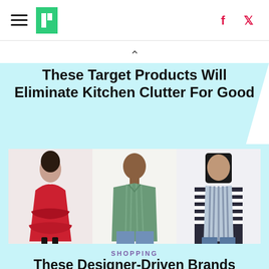HuffPost navigation header with hamburger menu, logo, Facebook and Twitter icons
These Target Products Will Eliminate Kitchen Clutter For Good
[Figure (photo): Three fashion models: woman in red floral dress, man in green striped shirt, woman in blue striped vest over striped top]
SHOPPING
These Designer-Driven Brands